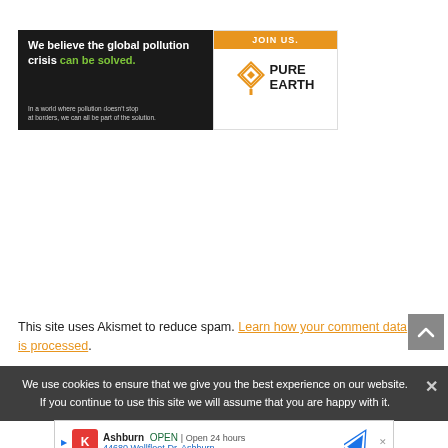[Figure (advertisement): Pure Earth banner ad with dark left panel saying 'We believe the global pollution crisis can be solved.' with green text, and right panel with orange JOIN US. button and Pure Earth logo with diamond icon.]
This site uses Akismet to reduce spam. Learn how your comment data is processed.
We use cookies to ensure that we give you the best experience on our website. If you continue to use this site we will assume that you are happy with it.
[Figure (advertisement): Google Maps style bottom ad for Ashburn location, showing red K icon, OPEN badge, Open 24 hours, address 44680 Wellfleet Dr, Ashburn, and navigation arrow icon.]